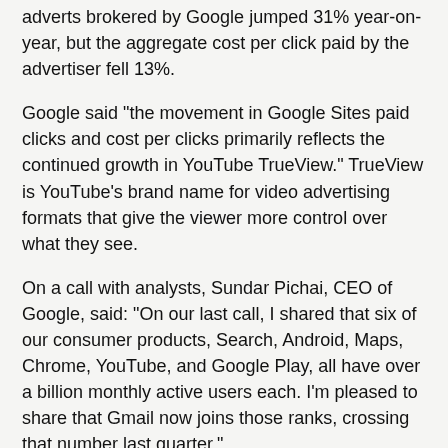adverts brokered by Google jumped 31% year-on-year, but the aggregate cost per click paid by the advertiser fell 13%.
Google said "the movement in Google Sites paid clicks and cost per clicks primarily reflects the continued growth in YouTube TrueView." TrueView is YouTube's brand name for video advertising formats that give the viewer more control over what they see.
On a call with analysts, Sundar Pichai, CEO of Google, said: "On our last call, I shared that six of our consumer products, Search, Android, Maps, Chrome, YouTube, and Google Play, all have over a billion monthly active users each. I'm pleased to share that Gmail now joins those ranks, crossing that number last quarter."
Ruth Porat, CFO, added: "We're now delivering about three times the compute power for the same amount of power or dollars we did five years ago. And that's an important point because it explains some of the slower capex in 2015. But given our commitment to have the most potent infrastructure, we do expect to increase capex in 2016."
Sources: Alphabet statement and call transcript